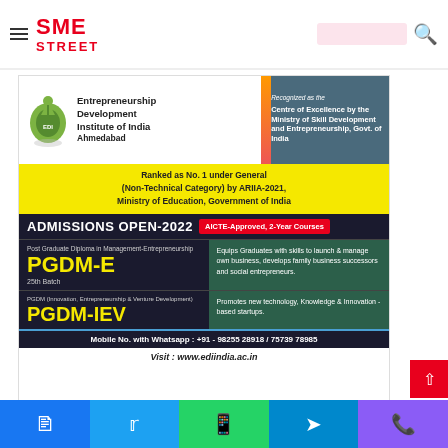SME STREET
[Figure (infographic): Entrepreneurship Development Institute of India Ahmedabad advertisement. Ranked No.1 under General (Non-Technical Category) by ARIIA-2021. Admissions Open 2022 for PGDM-E (25th Batch) and PGDM-IEV programs. Contact: +91-98255 28918 / 75739 78985. Visit: www.ediindia.ac.in]
Facebook | Twitter | WhatsApp | Telegram | Phone